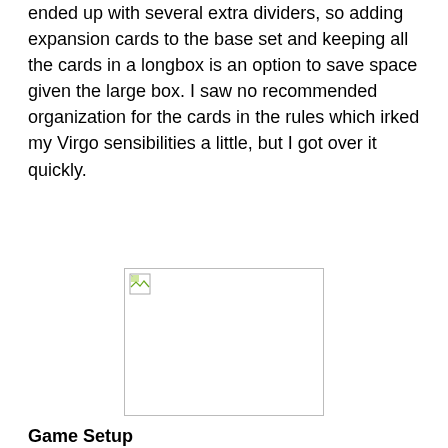ended up with several extra dividers, so adding expansion cards to the base set and keeping all the cards in a longbox is an option to save space given the large box. I saw no recommended organization for the cards in the rules which irked my Virgo sensibilities a little, but I got over it quickly.
[Figure (photo): A broken/missing image placeholder box with a small broken image icon in the top-left corner]
Game Setup
Setup takes longer than Dominion since you're dealing with 15 random card stacks to pull across 3 categories, plus the 4 basic supply piles, plus XP and Disease cards. Shuffling the Dungeon Deck and then shuffling the Thunderstone card into the bottom third of that deck takes extra time as well. There